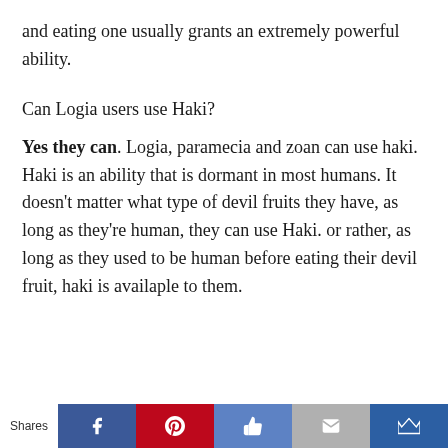and eating one usually grants an extremely powerful ability.
Can Logia users use Haki?
Yes they can. Logia, paramecia and zoan can use haki. Haki is an ability that is dormant in most humans. It doesn't matter what type of devil fruits they have, as long as they're human, they can use Haki. or rather, as long as they used to be human before eating their devil fruit, haki is availaple to them.
Shares [Facebook] [Pinterest] [Like] [Email] [Crown]